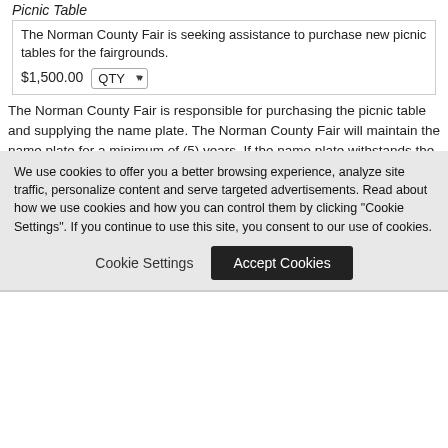Picnic Table
The Norman County Fair is seeking assistance to purchase new picnic tables for the fairgrounds.
$1,500.00  QTY
The Norman County Fair is responsible for purchasing the picnic table and supplying the name plate. The Norman County Fair will maintain the name plate for a minimum of (5) years. If the name plate withstands the wear and tear, it will remain on the table. If the NCF deems it necessary to replace the nameplate, they will do so. However, the NCF is not guaranteeing the nameplate or the picnic table will be maintained following the five year time frame.
The Norman County Fair is a 501 (c) 3 entity.
Terms & Conditions
We use cookies to offer you a better browsing experience, analyze site traffic, personalize content and serve targeted advertisements. Read about how we use cookies and how you can control them by clicking "Cookie Settings". If you continue to use this site, you consent to our use of cookies.
Cookie Settings
Accept Cookies